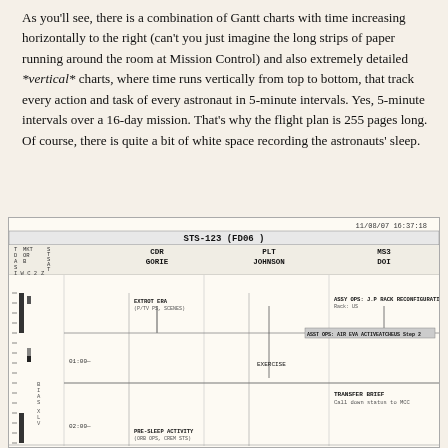As you'll see, there is a combination of Gantt charts with time increasing horizontally to the right (can't you just imagine the long strips of paper running around the room at Mission Control) and also extremely detailed *vertical* charts, where time runs vertically from top to bottom, that track every action and task of every astronaut in 5-minute intervals. Yes, 5-minute intervals over a 16-day mission. That's why the flight plan is 255 pages long. Of course, there is quite a bit of white space recording the astronauts' sleep.
[Figure (other): STS-123 (FD06) flight plan Gantt chart showing crew schedule with vertical time axis. Header shows date 11/08/07 16:37:18. Columns for CDR GORIE, PLT JOHNSON, MS3 DOI. Activities include EXTORT ERA, EXERCISE, TRANSFER BRIEF, PRE-SLEEP ACTIVITY. Time markers at 00:00, 01:00, 02:00.]